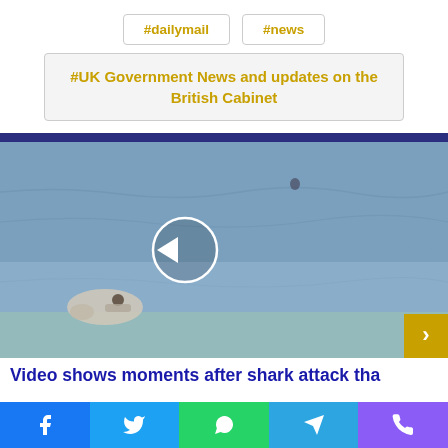#dailymail
#news
#UK Government News and updates on the British Cabinet
[Figure (photo): Aerial video still showing ocean water with a disturbance near shore, possibly showing aftermath of a shark attack with a kayaker visible. A white circle play/navigation button is overlaid on the image.]
Video shows moments after shark attack tha
Social share buttons: Facebook, Twitter, WhatsApp, Telegram, Phone